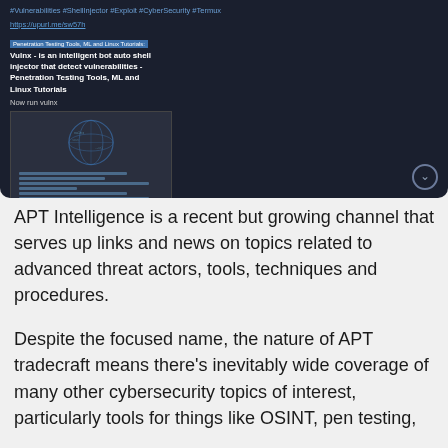[Figure (screenshot): Screenshot of a dark-themed social media or messaging post showing hashtags (#Vulnerabilities #ShellInjector #Exploit #CyberSecurity #Termux), a URL (https://upurl.me/sw57h), a channel label 'Penetration Testing Tools, ML and Linux Tutorials', bold title 'Vulnx - is an intelligent bot auto shell injector that detect vulnerabilities - Penetration Testing Tools, ML and Linux Tutorials', text 'Now run vulnx', and a nested screenshot of a terminal with a globe graphic and command output lines. A chevron/down button is visible at bottom right.]
APT Intelligence is a recent but growing channel that serves up links and news on topics related to advanced threat actors, tools, techniques and procedures.
Despite the focused name, the nature of APT tradecraft means there's inevitably wide coverage of many other cybersecurity topics of interest, particularly tools for things like OSINT, pen testing,